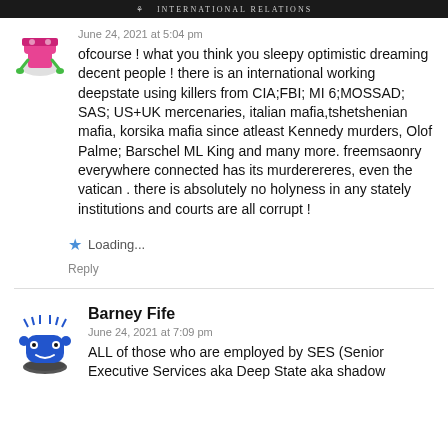International Relations
June 24, 2021 at 5:04 pm
ofcourse ! what you think you sleepy optimistic dreaming decent people ! there is an international working deepstate using killers from CIA;FBI; MI 6;MOSSAD; SAS; US+UK mercenaries, italian mafia,tshetshenian mafia, korsika mafia since atleast Kennedy murders, Olof Palme; Barschel ML King and many more. freemsaonry everywhere connected has its murderereres, even the vatican . there is absolutely no holyness in any stately institutions and courts are all corrupt !
Loading...
Reply
Barney Fife
June 24, 2021 at 7:09 pm
ALL of those who are employed by SES (Senior Executive Services aka Deep State aka shadow